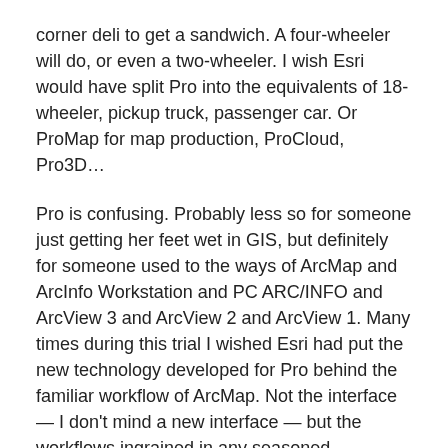corner deli to get a sandwich. A four-wheeler will do, or even a two-wheeler. I wish Esri would have split Pro into the equivalents of 18-wheeler, pickup truck, passenger car. Or ProMap for map production, ProCloud, Pro3D…
Pro is confusing. Probably less so for someone just getting her feet wet in GIS, but definitely for someone used to the ways of ArcMap and ArcInfo Workstation and PC ARC/INFO and ArcView 3 and ArcView 2 and ArcView 1. Many times during this trial I wished Esri had put the new technology developed for Pro behind the familiar workflow of ArcMap. Not the interface — I don't mind a new interface — but the workflows ingrained in any seasoned geogeek's subconscious.
WISH LIST